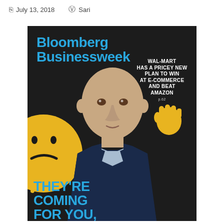July 13, 2018   Sari
[Figure (photo): Bloomberg Businessweek magazine cover featuring a bald man in a dark suit against a dark background, with a yellow smiley face on the left, a yellow hand on the upper right, white text reading 'WAL-MART HAS A PRICEY NEW PLAN TO WIN AT E-COMMERCE AND BEAT AMAZON p.62', blue Bloomberg Businessweek logo at top left, and large blue text at the bottom reading 'THEY'RE COMING FOR YOU,']